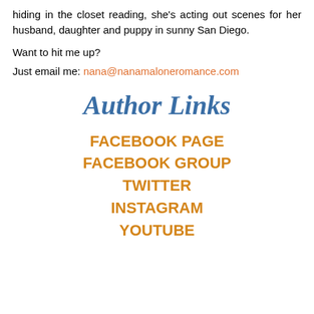hiding in the closet reading, she's acting out scenes for her husband, daughter and puppy in sunny San Diego.
Want to hit me up?
Just email me: nana@nanamaloneromance.com
Author Links
FACEBOOK PAGE
FACEBOOK GROUP
TWITTER
INSTAGRAM
YOUTUBE